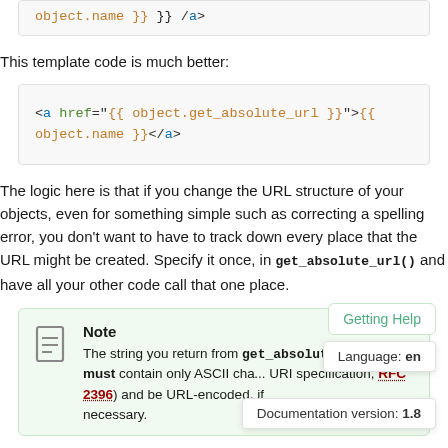[Figure (screenshot): Partial code block showing {{ object.name }} }} </a> in colored syntax highlighting]
This template code is much better:
[Figure (screenshot): Code block: <a href="{{ object.get_absolute_url }}">{{ object.name }}</a> with syntax highlighting]
The logic here is that if you change the URL structure of your objects, even for something simple such as correcting a spelling error, you don't want to have to track down every place that the URL might be created. Specify it once, in get_absolute_url() and have all your other code call that one place.
Getting Help
Language: en
Note
The string you return from get_absolute_url() must contain only ASCII cha... URI specification, RFC 2396 and be URL-encoded, if necessary.
Documentation version: 1.8